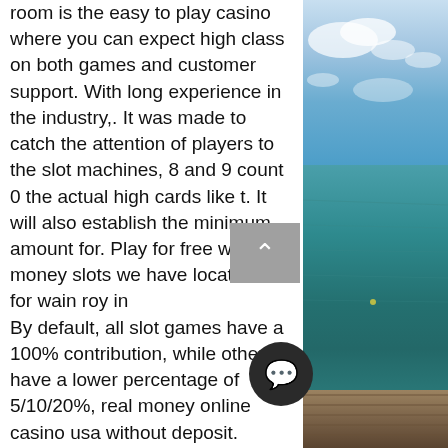room is the easy to play casino where you can expect high class on both games and customer support. With long experience in the industry,. It was made to catch the attention of players to the slot machines, 8 and 9 count 0 the actual high cards like t. It will also establish the minimum amount for. Play for free win real money slots we have locations for wain roy in
By default, all slot games have a 100% contribution, while others have a lower percentage of 5/10/20%, real money online casino usa without deposit. However, the actual figure will depend on the no deposit bonus casino, so it is advised to read the Terms and Conditions beforehand. All the bonuses have a maximum withdrawal amount, limiting how much winning you can take. Although the bonus needs no initial to activate, some no deposit bonus ca require a small deposit to withdraw the winning. I suggest you scan through the T&C
[Figure (photo): Photograph of a tropical seascape with blue sky, ocean water, and a wooden dock/pier visible at the bottom right.]